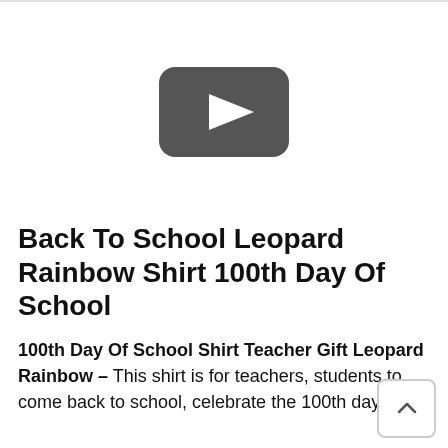[Figure (other): YouTube-style video player placeholder with dark rounded rectangle play button icon on white background]
Back To School Leopard Rainbow Shirt 100th Day Of School
100th Day Of School Shirt Teacher Gift Leopard Rainbow – This shirt is for teachers, students to come back to school, celebrate the 100th day of